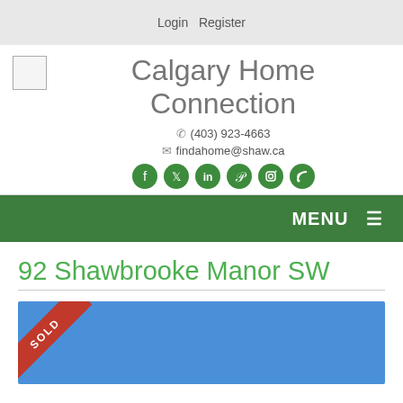Login   Register
Calgary Home Connection
(403) 923-4663
findahome@shaw.ca
[Figure (logo): Social media icons: Facebook, Twitter, LinkedIn, Pinterest, Instagram, RSS - all in green circles]
MENU ☰
92 Shawbrooke Manor SW
[Figure (photo): Property listing photo with blue sky background and a red SOLD ribbon banner in the top-left corner]